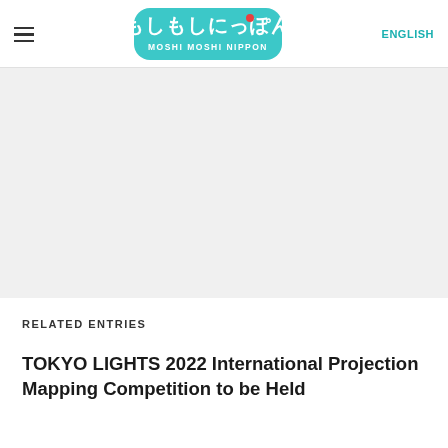MOSHI MOSHI NIPPON | ENGLISH
RELATED ENTRIES
TOKYO LIGHTS 2022 International Projection Mapping Competition to be Held